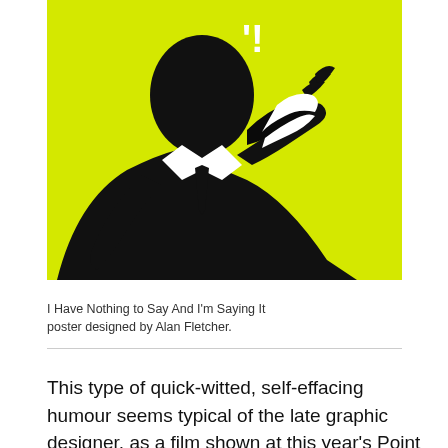[Figure (illustration): High-contrast black and yellow graphic poster showing a silhouetted figure in a suit examining their hand close to their face, with white speech marks above. Bold pop-art style illustration.]
I Have Nothing to Say And I'm Saying It poster designed by Alan Fletcher.
This type of quick-witted, self-effacing humour seems typical of the late graphic designer, as a film shown at this year's Point conference delineates.
[Figure (photo): Photograph of a bald man in front of bookshelves filled with books, shown from the shoulders up, partially cropped at page bottom.]